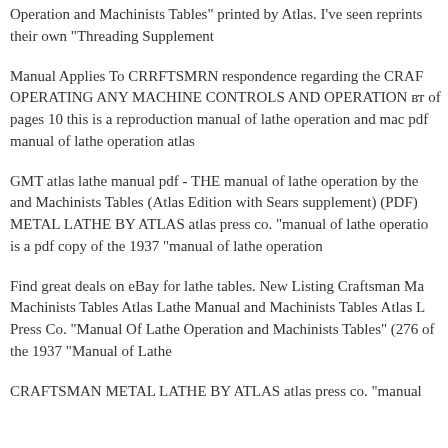Operation and Machinists Tables" printed by Atlas. I've seen reprints their own "Threading Supplement
Manual Applies To CRRFTSMRN respondence regarding the CRAF OPERATING ANY MACHINE CONTROLS AND OPERATION вт of pages 10 this is a reproduction manual of lathe operation and mac pdf manual of lathe operation atlas
GMT atlas lathe manual pdf - THE manual of lathe operation by the and Machinists Tables (Atlas Edition with Sears supplement) (PDF) METAL LATHE BY ATLAS atlas press co. "manual of lathe operatio is a pdf copy of the 1937 "manual of lathe operation
Find great deals on eBay for lathe tables. New Listing Craftsman Ma Machinists Tables Atlas Lathe Manual and Machinists Tables Atlas L Press Co. "Manual Of Lathe Operation and Machinists Tables" (276 of the 1937 "Manual of Lathe
CRAFTSMAN METAL LATHE BY ATLAS atlas press co. "manual